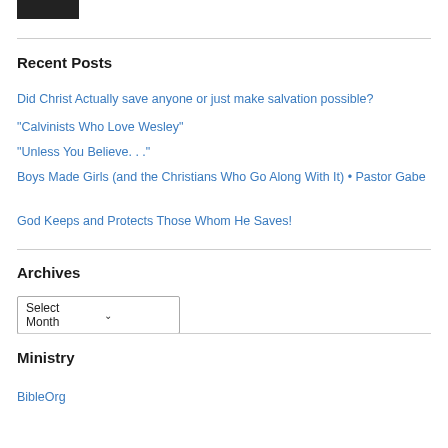[Figure (photo): Small dark thumbnail image in top-left corner]
Recent Posts
Did Christ Actually save anyone or just make salvation possible?
“Calvinists Who Love Wesley”
“Unless You Believe. . .”
Boys Made Girls (and the Christians Who Go Along With It) • Pastor Gabe
God Keeps and Protects Those Whom He Saves!
Archives
Select Month
Ministry
BibleOrg